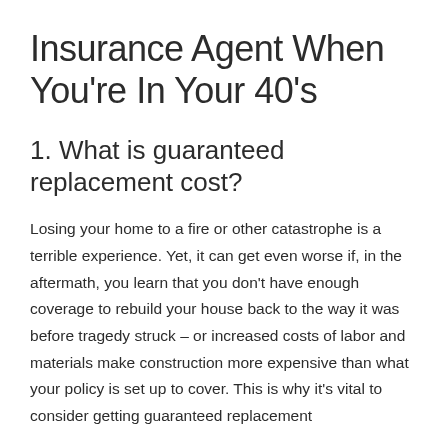Insurance Agent When You're In Your 40's
1. What is guaranteed replacement cost?
Losing your home to a fire or other catastrophe is a terrible experience. Yet, it can get even worse if, in the aftermath, you learn that you don't have enough coverage to rebuild your house back to the way it was before tragedy struck – or increased costs of labor and materials make construction more expensive than what your policy is set up to cover. This is why it's vital to consider getting guaranteed replacement